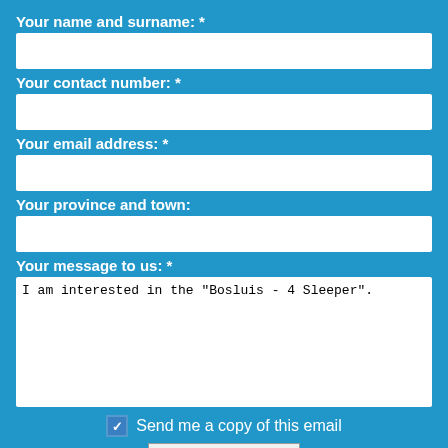Your name and surname: *
Your contact number: *
Your email address: *
Your province and town:
Your message to us: *
I am interested in the "Bosluis - 4 Sleeper".
Send me a copy of this email
Send message